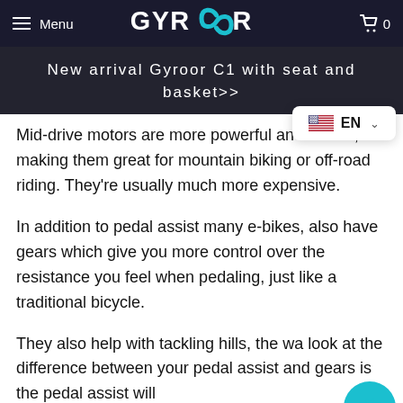Menu | GYROOR | 0
New arrival Gyroor C1 with seat and basket>>
Mid-drive motors are more powerful and efficient, making them great for mountain biking or off-road riding. They're usually much more expensive.
In addition to pedal assist many e-bikes, also have gears which give you more control over the resistance you feel when pedaling, just like a traditional bicycle.
They also help with tackling hills, the way look at the difference between your pedal assist and gears is the pedal assist will